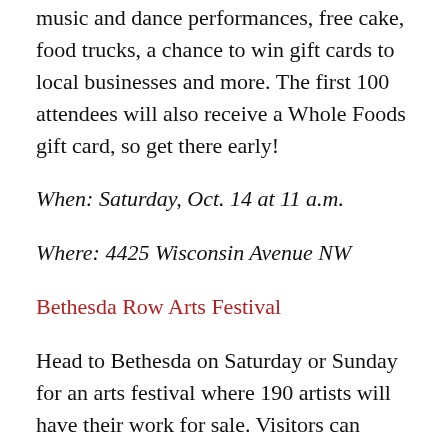music and dance performances, free cake, food trucks, a chance to win gift cards to local businesses and more. The first 100 attendees will also receive a Whole Foods gift card, so get there early!
When: Saturday, Oct. 14 at 11 a.m.
Where: 4425 Wisconsin Avenue NW
Bethesda Row Arts Festival
Head to Bethesda on Saturday or Sunday for an arts festival where 190 artists will have their work for sale. Visitors can purchase paintings, jewelry, photographs and so much more, all while listening to live music as they explore all of the unique